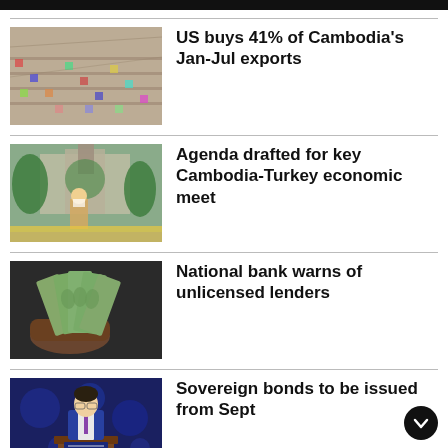[Figure (other): Dark top navigation bar]
[Figure (photo): Aerial view of a garment factory with many workers at sewing machines]
US buys 41% of Cambodia's Jan-Jul exports
[Figure (photo): Woman in mask at Angkor Wat-like temple with yellow flower offerings]
Agenda drafted for key Cambodia-Turkey economic meet
[Figure (photo): Hand holding a fan of US dollar bills]
National bank warns of unlicensed lenders
[Figure (photo): Man in suit speaking at a podium with blue decorative background]
Sovereign bonds to be issued from Sept